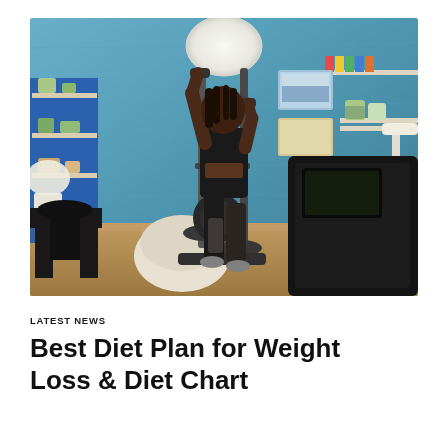[Figure (photo): A woman working out on an elliptical machine in a home gym/living room setting. The room has a blue teal wall, white shelves with plants, framed pictures, books, a bean bag chair, a desk, and a dark elliptical trainer. She is wearing black athletic wear.]
LATEST NEWS
Best Diet Plan for Weight Loss & Diet Chart